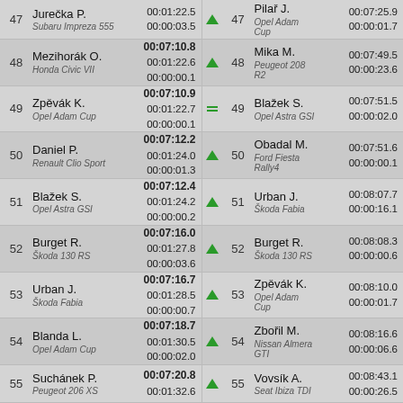| Pos | Name/Car | Times | Arrow | Pos | Name/Car | Arrow | Times |
| --- | --- | --- | --- | --- | --- | --- | --- |
| 47 | Jurečka P. / Subaru Impreza 555 | 00:01:22.5 / 00:00:03.5 | ↑ | 47 | Pilař J. / Opel Adam Cup | ↑ | 00:07:25.9 / 00:00:01.7 |
| 48 | Mezihorák O. / Honda Civic VII | 00:07:10.8 / 00:01:22.6 / 00:00:00.1 | ↑ | 48 | Mika M. / Peugeot 208 R2 | ↑ | 00:07:49.5 / 00:00:23.6 |
| 49 | Zpěvák K. / Opel Adam Cup | 00:07:10.9 / 00:01:22.7 / 00:00:00.1 | = | 49 | Blažek S. / Opel Astra GSI | = | 00:07:51.5 / 00:00:02.0 |
| 50 | Daniel P. / Renault Clio Sport | 00:07:12.2 / 00:01:24.0 / 00:00:01.3 | ↑ | 50 | Obadal M. / Ford Fiesta Rally4 | ↑ | 00:07:51.6 / 00:00:00.1 |
| 51 | Blažek S. / Opel Astra GSI | 00:07:12.4 / 00:01:24.2 / 00:00:00.2 | ↑ | 51 | Urban J. / Škoda Fabia | ↑ | 00:08:07.7 / 00:00:16.1 |
| 52 | Burget R. / Škoda 130 RS | 00:07:16.0 / 00:01:27.8 / 00:00:03.6 | ↑ | 52 | Burget R. / Škoda 130 RS | ↑ | 00:08:08.3 / 00:00:00.6 |
| 53 | Urban J. / Škoda Fabia | 00:07:16.7 / 00:01:28.5 / 00:00:00.7 | ↑ | 53 | Zpěvák K. / Opel Adam Cup | ↑ | 00:08:10.0 / 00:00:01.7 |
| 54 | Blanda L. / Opel Adam Cup | 00:07:18.7 / 00:01:30.5 / 00:00:02.0 | ↑ | 54 | Zbořil M. / Nissan Almera GTI | ↑ | 00:08:16.6 / 00:00:06.6 |
| 55 | Suchánek P. / Peugeot 206 XS | 00:07:20.8 / 00:01:32.6 | ↑ | 55 | Vovsík A. / Seat Ibiza TDI | ↑ | 00:08:43.1 / 00:00:26.5 |